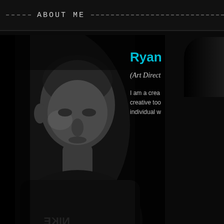ABOUT ME
[Figure (photo): Black and white portrait photo of a bald man wearing a Nike black t-shirt, looking directly at camera, dark background]
Ryan
(Art Direct
I am a crea creative too individual w